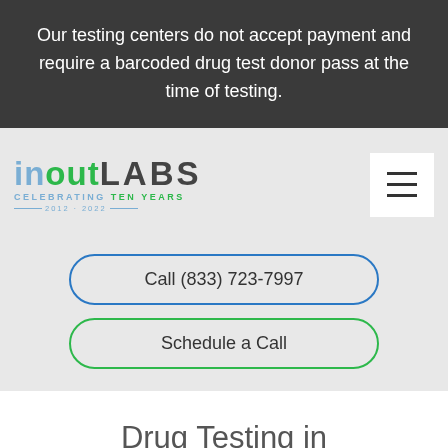Our testing centers do not accept payment and require a barcoded drug test donor pass at the time of testing.
[Figure (logo): InOutLabs logo celebrating ten years 2012-2022]
[Figure (other): Hamburger menu button (three horizontal lines)]
Call (833) 723-7997
Schedule a Call
Drug Testing in North Providence